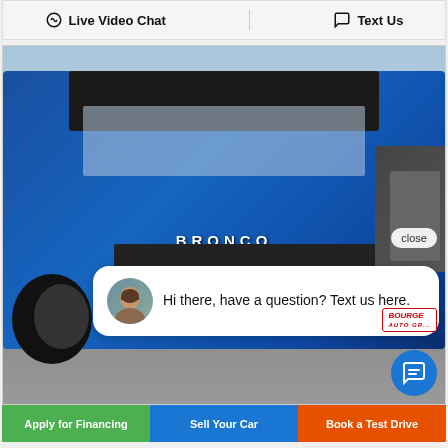Live Video Chat   Text Us
[Figure (photo): Blue Ford Bronco SUV on dealership lot with a chat overlay bubble showing a female avatar and message 'Hi there, have a question? Text us here.' with a close button and Bourget Auto Group logo]
close
Hi there, have a question? Text us here.
BOURGE
Apply for Financing
Sell Your Car
Book a Test Drive